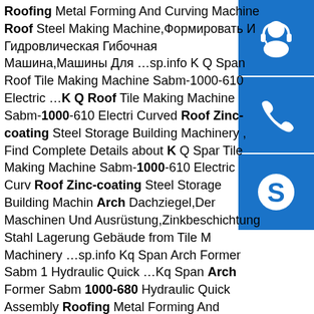Roofing Metal Forming And Curving Machine Roof Steel Making Machine,Формировать И Гидровлическая Гибочная Машина,Машины Для ...sp.info K Q Span Roof Tile Making Machine Sabm-1000-610 Electric ...K Q Roof Tile Making Machine Sabm-1000-610 Electric Curved Roof Zinc-coating Steel Storage Building Machinery , Find Complete Details about K Q Span Tile Making Machine Sabm-1000-610 Electric Curved Roof Zinc-coating Steel Storage Building Machinery,Arch Dachziegel,Der Maschinen Und Ausrüstung,Zinkbeschichtung Stahl Lagerung Gebäude from Tile Making Machinery …sp.info Kq Span Arch Former Sabm 1000-680 Hydraulic Quick …Kq Span Arch Former Sabm 1000-680 Hydraulic Quick Assembly Roofing Metal Forming And Curving Machine Roof Steel Making Machine , Find Complete Details about Kq Span Arch Former Sabm 1000-680 Hydraulic Quick Assembly Roofing Metal Forming And Curving Machine Roof Steel Making Machine,积积积积积积积积积积,积积积积积积,积积积积积 from Tile Making Machinery
[Figure (illustration): Blue icon button with white headset/customer support icon]
[Figure (illustration): Blue icon button with white phone/call icon]
[Figure (illustration): Blue icon button with white Skype logo icon]